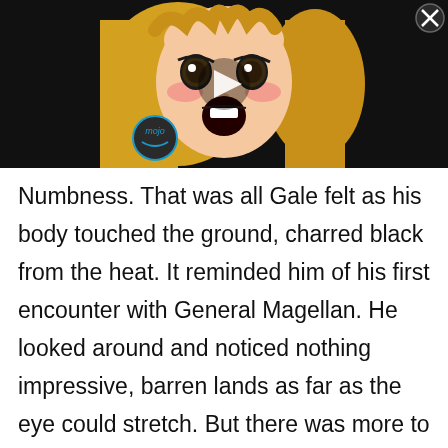[Figure (screenshot): Video thumbnail showing an anime character face with blonde hair, blushing expression, wide open eyes and mouth. A play button triangle is visible in the center. A 'mojo' logo badge appears bottom left. A close (X) button is in the top right corner. Background is black.]
Numbness. That was all Gale felt as his body touched the ground, charred black from the heat. It reminded him of his first encounter with General Magellan. He looked around and noticed nothing impressive, barren lands as far as the eye could stretch. But there was more to the location that just its appearance. It held a presence that far superseded what he had ever felt in the World of Transition.